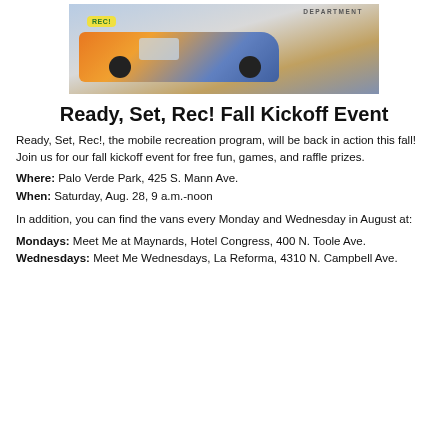[Figure (photo): A colorful branded van/vehicle for the Ready, Set, Rec! mobile recreation program, parked in front of a brick building with 'DEPARTMENT' text visible. The van has orange, yellow, teal and purple colors with the REC! logo.]
Ready, Set, Rec! Fall Kickoff Event
Ready, Set, Rec!, the mobile recreation program, will be back in action this fall! Join us for our fall kickoff event for free fun, games, and raffle prizes.
Where: Palo Verde Park, 425 S. Mann Ave.
When: Saturday, Aug. 28, 9 a.m.-noon
In addition, you can find the vans every Monday and Wednesday in August at:
Mondays: Meet Me at Maynards, Hotel Congress, 400 N. Toole Ave.
Wednesdays: Meet Me Wednesdays, La Reforma, 4310 N. Campbell Ave.